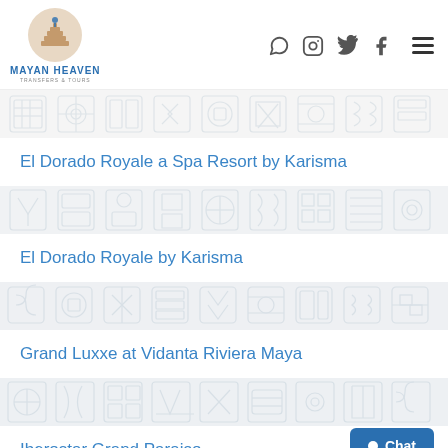Mayan Heaven Transfers & Tours
El Dorado Royale a Spa Resort by Karisma
El Dorado Royale by Karisma
Grand Luxxe at Vidanta Riviera Maya
Iberostar Grand Paraiso